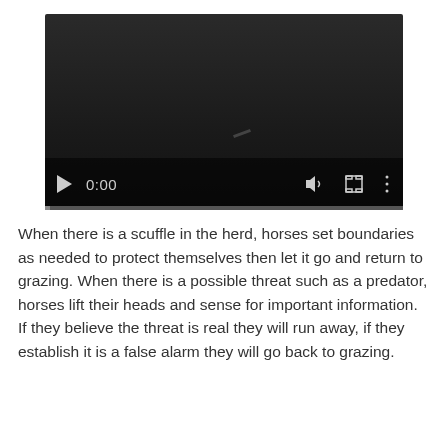[Figure (screenshot): A video player showing a dark/black screen with playback controls at the bottom: a play button triangle, a time display showing 0:00, a volume icon, a fullscreen icon, a more-options icon, and a progress bar.]
When there is a scuffle in the herd, horses set boundaries as needed to protect themselves then let it go and return to grazing.  When there is a possible threat such as a predator, horses lift their heads and sense for important information.  If they believe the threat is real they will run away, if they establish it is a false alarm they will go back to grazing.